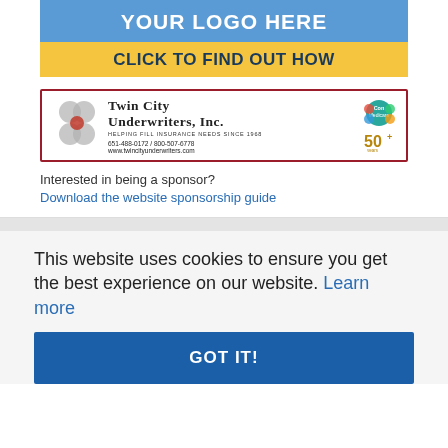[Figure (logo): Blue banner with text YOUR LOGO HERE above a yellow banner with text CLICK TO FIND OUT HOW]
[Figure (logo): Twin City Underwriters, Inc. advertisement banner with logo circles, Medicare badge, 50+ years badge, phone 651-488-0172 / 800-507-6778, www.twincityunderwriters.com]
Interested in being a sponsor?
Download the website sponsorship guide
This website uses cookies to ensure you get the best experience on our website. Learn more
GOT IT!